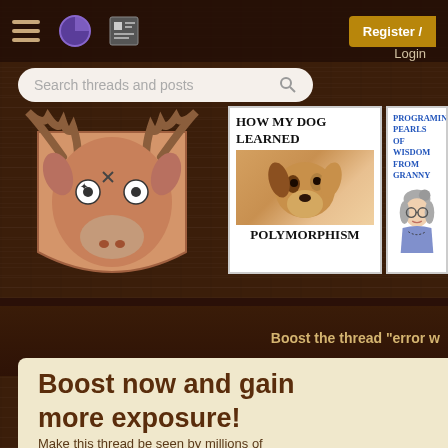[Figure (screenshot): Website header with dark wood-textured background, hamburger menu, pie chart icon, news icon, Register button, Login link, and search bar reading 'Search threads and posts']
[Figure (illustration): Cartoon moose head mounted on a shield, drawn in a whimsical style]
[Figure (illustration): Book cover: 'How My Dog Learned Polymorphism' with a photo of a dog]
[Figure (illustration): Book cover: 'Programing Pearls of Wisdom from Granny' with cartoon of elderly woman]
Boost the thread "error w
Boost now and gain more exposure!
Make this thread be seen by millions of